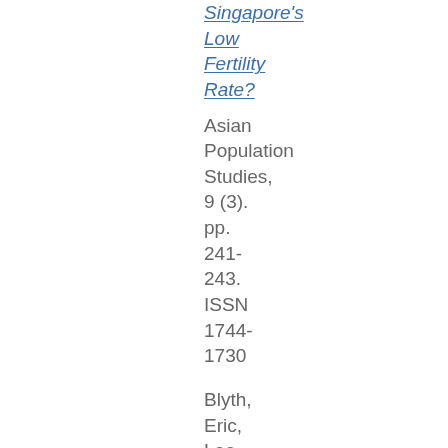Singapore's Low Fertility Rate?
Asian Population Studies, 9 (3). pp. 241-243. ISSN 1744-1730
Blyth, Eric, Lee, Geok Ling and